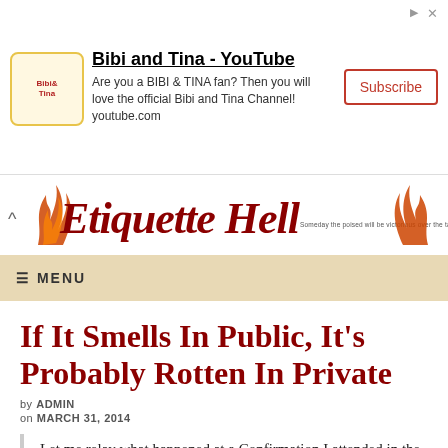[Figure (other): Advertisement banner for Bibi and Tina YouTube channel with logo, text, and Subscribe button]
[Figure (logo): Etiquette Hell website logo in cursive script with flame decorations and tagline]
≡ MENU
If It Smells In Public, It's Probably Rotten In Private
by ADMIN
on MARCH 31, 2014
Let me relay what happened at a Confirmation I attended in the spring of 2013.